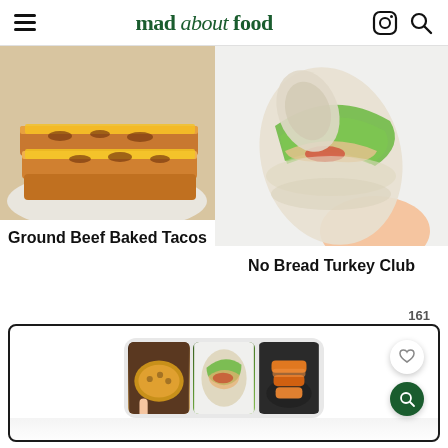mad about food
[Figure (photo): Photo of Ground Beef Baked Tacos on a plate — layered taco shells with ground beef and melted cheese]
Ground Beef Baked Tacos
[Figure (photo): Hand holding a No Bread Turkey Club wrap cut in half showing lettuce, turkey, tomato and avocado layers]
No Bread Turkey Club
161
[Figure (screenshot): App card with three thumbnail food photos: a lentil/bean dish, a turkey wrap, and crispy chicken tenders. Heart and search FAB buttons visible.]